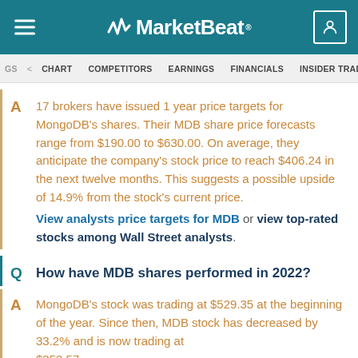MarketBeat
GS  CHART  COMPETITORS  EARNINGS  FINANCIALS  INSIDER TRADES  INST
17 brokers have issued 1 year price targets for MongoDB’s shares. Their MDB share price forecasts range from $190.00 to $630.00. On average, they anticipate the company’s stock price to reach $406.24 in the next twelve months. This suggests a possible upside of 14.9% from the stock’s current price. View analysts price targets for MDB or view top-rated stocks among Wall Street analysts.
How have MDB shares performed in 2022?
MongoDB’s stock was trading at $529.35 at the beginning of the year. Since then, MDB stock has decreased by 33.2% and is now trading at $353.57